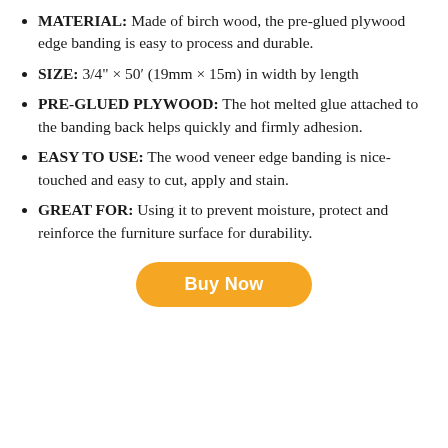MATERIAL: Made of birch wood, the pre-glued plywood edge banding is easy to process and durable.
SIZE: 3/4" × 50′ (19mm × 15m) in width by length
PRE-GLUED PLYWOOD: The hot melted glue attached to the banding back helps quickly and firmly adhesion.
EASY TO USE: The wood veneer edge banding is nice-touched and easy to cut, apply and stain.
GREAT FOR: Using it to prevent moisture, protect and reinforce the furniture surface for durability.
Buy Now